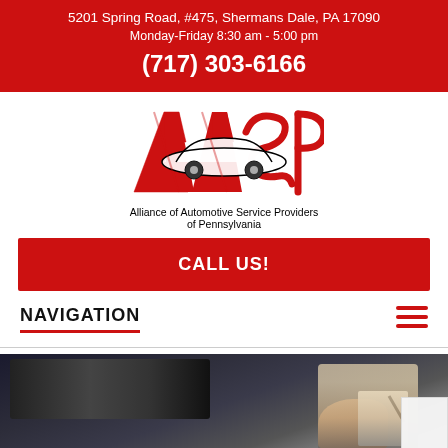5201 Spring Road, #475, Shermans Dale, PA 17090
Monday-Friday 8:30 am - 5:00 pm
(717) 303-6166
[Figure (logo): AASP logo with red letter styling and a car silhouette. Text below: Alliance of Automotive Service Providers of Pennsylvania]
CALL US!
NAVIGATION
[Figure (photo): A mechanic's hand holding a pen writing on a clipboard near a car engine bay]